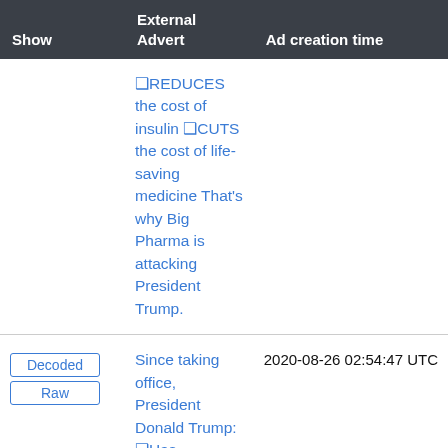| Show | External Advert | Ad creation time |
| --- | --- | --- |
|  | ❑REDUCES the cost of insulin ❑CUTS the cost of life-saving medicine That's why Big Pharma is attacking President Trump. |  |
| Decoded
Raw | Since taking office, President Donald Trump: ❑Has REBUILT our military ❑REPAIRED a broken VA ❑ELIMINATED the world's deadliest terrorists. Today, America is SAFER and STRONGER than ever. He takes his sworn duty seriously. | 2020-08-26 02:54:47 UTC |